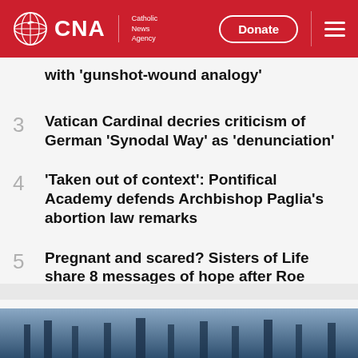CNA | Catholic News Agency
with ‘gunshot-wound analogy’
3  Vatican Cardinal decries criticism of German ‘Synodal Way’ as ‘denunciation’
4  ‘Taken out of context’: Pontifical Academy defends Archbishop Paglia’s abortion law remarks
5  Pregnant and scared? Sisters of Life share 8 messages of hope after Roe
YOU MAY ALSO LIKE
[Figure (photo): Dark blue-toned photo at the bottom of the page, partially visible, appears to show people or figures in a formal/religious setting]